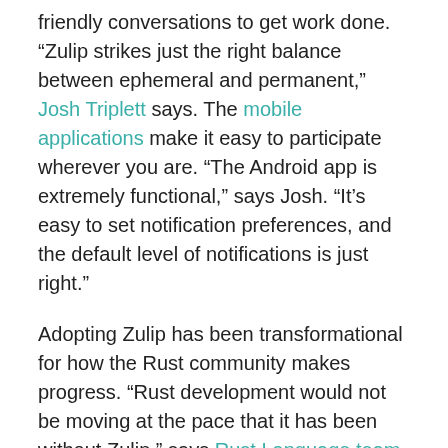friendly conversations to get work done. “Zulip strikes just the right balance between ephemeral and permanent,” Josh Triplett says. The mobile applications make it easy to participate wherever you are. “The Android app is extremely functional,” says Josh. “It’s easy to set notification preferences, and the default level of notifications is just right.”
Adopting Zulip has been transformational for how the Rust community makes progress. “Rust development would not be moving at the pace that it has been without Zulip,” says Rust Language team co-lead Josh Triplett. “Without Zulip, the Rust community would be more stuck, more slow-moving, less agile, and a little less human.”
“Rust development would not be moving at